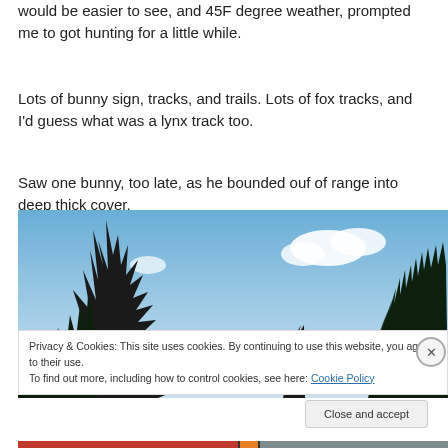would be easier to see, and 45F degree weather, prompted me to got hunting for a little while.
Lots of bunny sign, tracks, and trails. Lots of fox tracks, and I'd guess what was a lynx track too.
Saw one bunny, too late, as he bounded ouf of range into deep thick cover.
[Figure (photo): Outdoor scene looking up at tree silhouettes against a blue sky with scattered white clouds. Dark conifer and bare tree branches visible against the sky.]
Privacy & Cookies: This site uses cookies. By continuing to use this website, you agree to their use. To find out more, including how to control cookies, see here: Cookie Policy
Close and accept